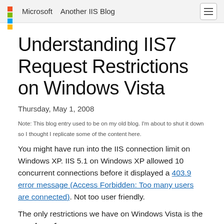Microsoft   Another IIS Blog
Understanding IIS7 Request Restrictions on Windows Vista
Thursday, May 1, 2008
Note: This blog entry used to be on my old blog. I'm about to shut it down so I thought I replicate some of the content here.
You might have run into the IIS connection limit on Windows XP. IIS 5.1 on Windows XP allowed 10 concurrent connections before it displayed a 403.9 error message (Access Forbidden: Too many users are connected). Not too user friendly.
The only restrictions we have on Windows Vista is the number of